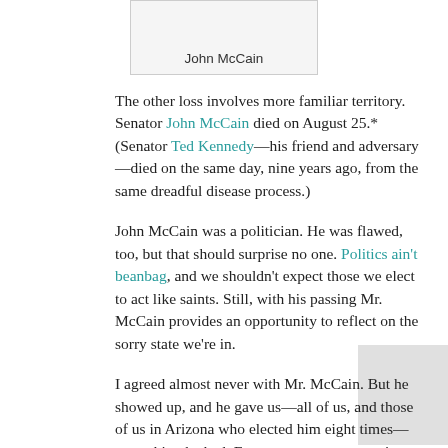[Figure (other): Image placeholder box labeled 'John McCain']
The other loss involves more familiar territory. Senator John McCain died on August 25.* (Senator Ted Kennedy—his friend and adversary—died on the same day, nine years ago, from the same dreadful disease process.)
John McCain was a politician. He was flawed, too, but that should surprise no one. Politics ain't beanbag, and we shouldn't expect those we elect to act like saints. Still, with his passing Mr. McCain provides an opportunity to reflect on the sorry state we're in.
I agreed almost never with Mr. McCain. But he showed up, and he gave us—all of us, and those of us in Arizona who elected him eight times—everything he had. For sure, on many occasions he hewed the party line, sometimes maddeningly. "Hello." That's what politicians do.
When John McCain didn't stick to the hymnal, his actions reflected care and concern for regular